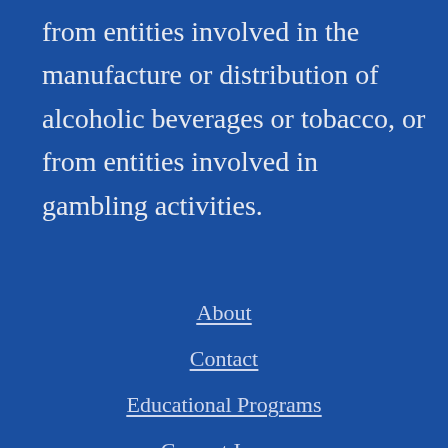from entities involved in the manufacture or distribution of alcoholic beverages or tobacco, or from entities involved in gambling activities.
About
Contact
Educational Programs
Current Issues
Alcap.com